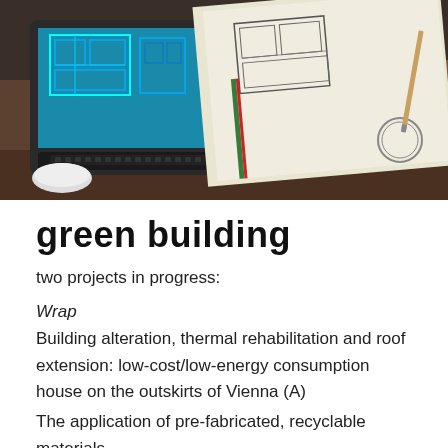[Figure (photo): Overhead view of architectural blueprints/floor plans on a table, with a laptop displaying a CAD floor plan in blue. Wooden desk surface visible.]
green building
two projects in progress:
Wrap
Building alteration, thermal rehabilitation and roof extension: low-cost/low-energy consumption house on the outskirts of Vienna (A)
The application of pre-fabricated, recyclable materials –